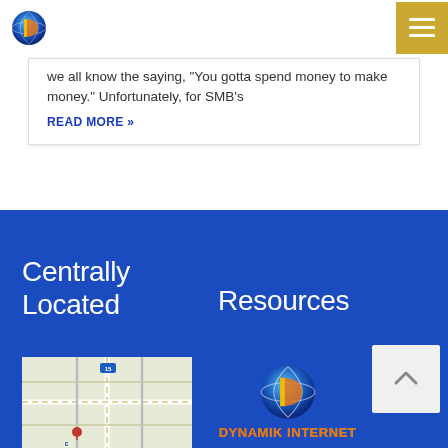[Figure (logo): Dynamik Internet globe logo icon — orange and blue globe with 'D' shape]
[Figure (other): Hamburger menu button with golden/yellow background and three white horizontal lines]
we all know the saying, 'You gotta spend money to make money.' Unfortunately, for SMB's
READ MORE »
Centrally Located
Resources
[Figure (map): Street map thumbnail showing road intersections]
[Figure (logo): Dynamik Internet globe logo with orange text 'DYNAMIK INTERNET' below]
[Figure (other): Back to top button — light grey square with upward caret arrow]